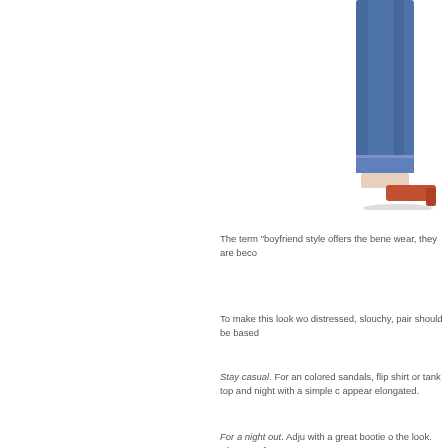[Figure (photo): Photo of person wearing blue jeans with rolled cuffs and orange/red high heel shoes, cropped to show lower body from waist down, on white background]
The term “boyfriend style offers the bene wear, they are beco
To make this look w distressed, slouchy, pair should be base
Stay casual. For an colored sandals, flip shirt or tank top and night with a simple c appear elongated.
For a night out. Adju with a great bootie o the look. Choose a f